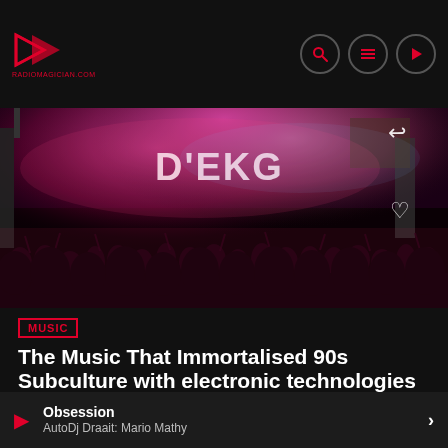radiomagician.com
[Figure (photo): Outdoor concert scene at night, crowd with raised hands, colorful stage lighting with pink/magenta hues, 'D'EKG' text visible on stage backdrop]
MUSIC
The Music That Immortalised 90s Subculture with electronic technologies
https://www.youtube.com/watch?v=0EBTn_3DBYo The 90s undoubtedly marked the Golden Age of underground music zines
Obsession
AutoDj Draait: Mario Mathy